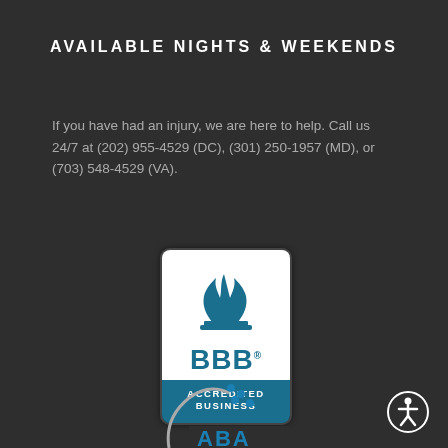AVAILABLE NIGHTS & WEEKENDS
If you have had an injury, we are here to help. Call us 24/7 at (202) 955-4529 (DC), (301) 250-1957 (MD), or (703) 548-4529 (VA).
[Figure (logo): BBB Accredited Business badge with flame logo and blue background]
[Figure (logo): ABA or similar organization logo, partially visible at bottom]
[Figure (logo): Accessibility icon (circle with person symbol) in bottom right]